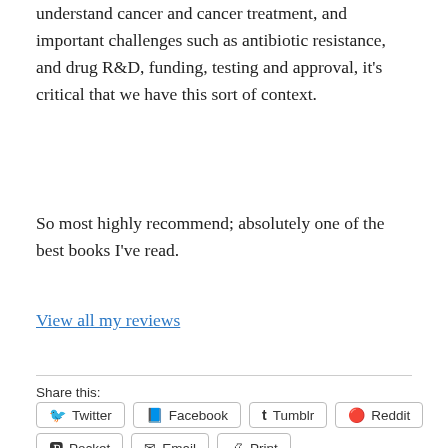understand cancer and cancer treatment, and important challenges such as antibiotic resistance, and drug R&D, funding, testing and approval, it's critical that we have this sort of context.
So most highly recommend; absolutely one of the best books I've read.
View all my reviews
Share this:
Twitter  Facebook  Tumblr  Reddit  Pocket  Email  Print